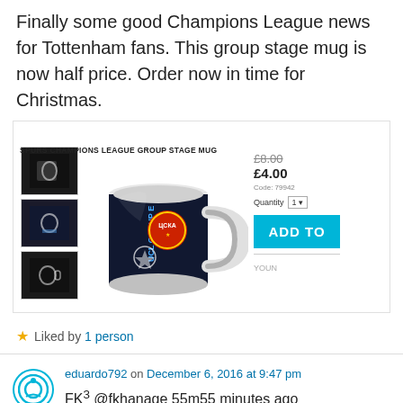Finally some good Champions League news for Tottenham fans. This group stage mug is now half price. Order now in time for Christmas.
[Figure (screenshot): Product listing for Spurs Champions League Group Stage Mug showing thumbnail images, main mug photo, price £8.00 crossed out and £4.00, code 79942, quantity selector, and Add To Cart button]
★ Liked by 1 person
eduardo792 on December 6, 2016 at 9:47 pm
FK³ @fkhanage 55m55 minutes ago
In 47 minutes, Lucas Perez has scored the same